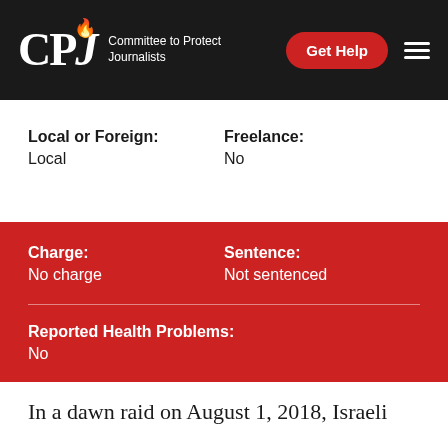CPJ — Committee to Protect Journalists | Get Help
Local or Foreign:
Local
Freelance:
No
Charge:
No charge
Sentence:
Not sentenced
Reported Health Problems:
No
In a dawn raid on August 1, 2018, Israeli